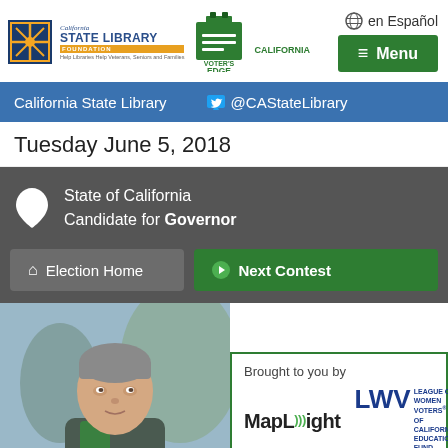[Figure (logo): California State Library and Voter's Edge California logos in the top navigation bar]
en Español
≡ Menu
California State Library    @CAStateLibrary
Tuesday June 5, 2018
State of California
Candidate for Governor
🏠 Election Home
▶ Next Contest
[Figure (photo): Headshot photo of a male candidate with gray hair wearing a green scarf, photographed outdoors]
Brought to you by
[Figure (logo): MapLight logo and League of Women Voters of California Education Fund logo]